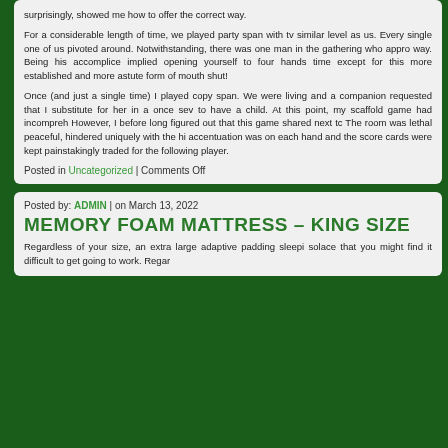surprisingly, showed me how to offer the correct way.

For a considerable length of time, we played party span with two similar level as us. Every single one of us pivoted around. Notwithstanding, there was one man in the gathering who appro way. Being his accomplice implied opening yourself to four hands time except for this more established and more astute form of mouth shut!

Once (and just a single time) I played copy span. We were living and a companion requested that I substitute for her in a once sev to have a child. At this point, my scaffold game had incompreh However, I before long figured out that this game shared next to The room was lethal peaceful, hindered uniquely with the hi accentuation was on each hand and the score cards were kept painstakingly traded for the following player.
Posted in Uncategorized | Comments Off
Posted by: ADMIN | on March 13, 2022
MEMORY FOAM MATTRESS – KING SIZE
Regardless of your size, an extra large adaptive padding sleepingsolace that you might find it difficult to get going to work. Regar